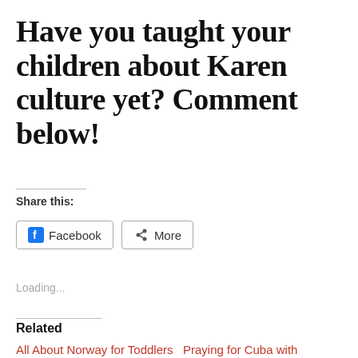Have you taught your children about Karen culture yet? Comment below!
Share this:
Facebook   More
Loading...
Related
All About Norway for Toddlers
Praying for Cuba with Toddlers